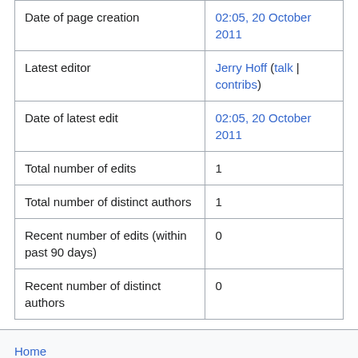| Date of page creation | 02:05, 20 October 2011 |
| Latest editor | Jerry Hoff (talk | contribs) |
| Date of latest edit | 02:05, 20 October 2011 |
| Total number of edits | 1 |
| Total number of distinct authors | 1 |
| Recent number of edits (within past 90 days) | 0 |
| Recent number of distinct authors | 0 |
Home
About OWASP
Acknowledgements
Advertising
Books
Board Page